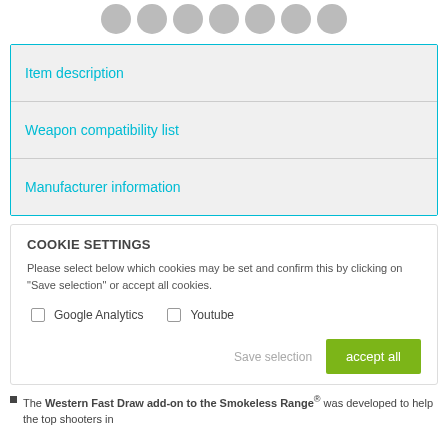[Figure (other): Row of grey circular avatar/icon placeholders at top]
Item description
Weapon compatibility list
Manufacturer information
COOKIE SETTINGS
Please select below which cookies may be set and confirm this by clicking on "Save selection" or accept all cookies.
Google Analytics  Youtube
Save selection  accept all
The Western Fast Draw add-on to the Smokeless Range® was developed to help the top shooters in